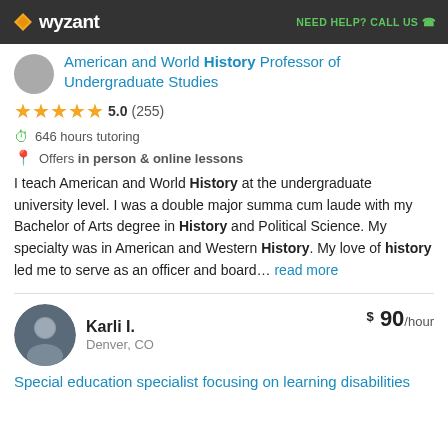wyzant — NEED HELP? CALL US
American and World History Professor of Undergraduate Studies
5.0 (255)
646 hours tutoring
Offers in person & online lessons
I teach American and World History at the undergraduate university level. I was a double major summa cum laude with my Bachelor of Arts degree in History and Political Science. My specialty was in American and Western History. My love of history led me to serve as an officer and board... read more
Karli I. — Denver, CO — $90/hour
Special education specialist focusing on learning disabilities